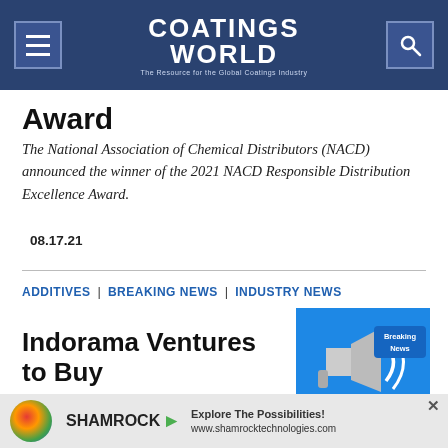Coatings World — The Resource for the Global Coatings Industry
Award
The National Association of Chemical Distributors (NACD) announced the winner of the 2021 NACD Responsible Distribution Excellence Award.
08.17.21
ADDITIVES | BREAKING NEWS | INDUSTRY NEWS
[Figure (photo): Breaking News graphic with megaphone on blue background]
Indorama Ventures to Buy
[Figure (photo): Shamrock Technologies advertisement banner: Explore The Possibilities! www.shamrocktechnologies.com]